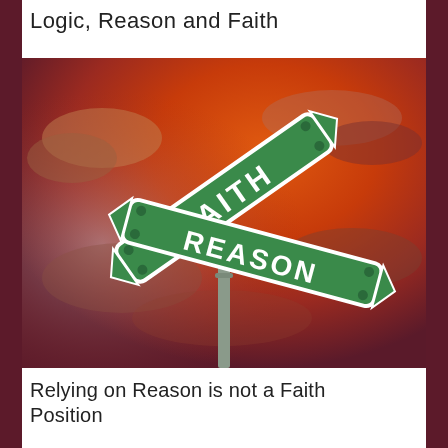Logic, Reason and Faith
[Figure (photo): Street sign post with two green signs crossing each other: one reading 'FAITH' and the other reading 'REASON', set against a dramatic red and orange sunset sky.]
Relying on Reason is not a Faith Position